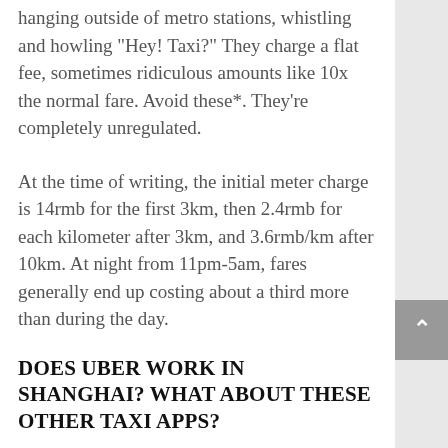hanging outside of metro stations, whistling and howling "Hey! Taxi?" They charge a flat fee, sometimes ridiculous amounts like 10x the normal fare. Avoid these*. They're completely unregulated.
At the time of writing, the initial meter charge is 14rmb for the first 3km, then 2.4rmb for each kilometer after 3km, and 3.6rmb/km after 10km. At night from 11pm-5am, fares generally end up costing about a third more than during the day.
DOES UBER WORK IN SHANGHAI? WHAT ABOUT THESE OTHER TAXI APPS?
Getting a taxi in the rain or during rush hour can be almost impossible, and that's where